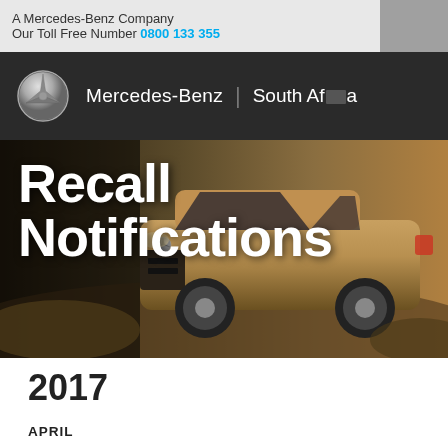A Mercedes-Benz Company
Our Toll Free Number 0800 133 355
[Figure (screenshot): Mercedes-Benz navigation bar with three-pointed star logo, 'Mercedes-Benz' text, divider, and 'South Africa' region label on dark background]
Recall Notifications
2017
APRIL
As previously communicated Daimler AG, Mercedes-Benz